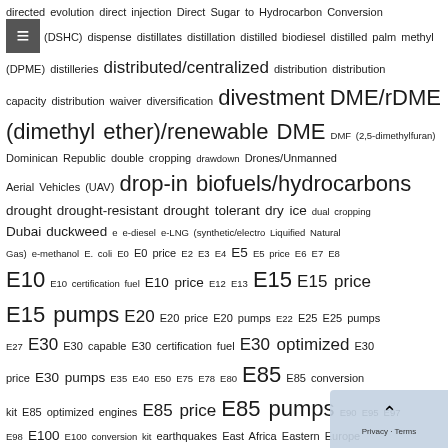directed evolution direct injection Direct Sugar to Hydrocarbon Conversion (DSHC) dispense distillates distillation distilled biodiesel distilled palm methyl (DPME) distilleries distributed/centralized distribution distribution capacity distribution waiver diversification divestment DME/rDME (dimethyl ether)/renewable DME DMF (2,5-dimethylfuran) Dominican Republic double cropping drawdown Drones/Unmanned Aerial Vehicles (UAV) drop-in biofuels/hydrocarbons drought drought-resistant drought tolerant dry ice dual cropping Dubai duckweed e e-diesel e-LNG (synthetic/electro Liquified Natural Gas) e-methanol E. coli E0 E0 price E2 E3 E4 E5 E5 price E6 E7 E8 E10 E10 certification fuel E10 price E12 E13 E15 E15 price E15 pumps E20 E20 price E20 pumps E22 E25 E25 pumps E27 E30 E30 capable E30 certification fuel E30 optimized E30 price E30 pumps E35 E40 E50 E75 E78 E80 E85 E85 conversion kit E85 optimized engines E85 price E85 pumps E90 E95 E97 E98 E100 E100 conversion kit earthquakes East Africa Eastern Europe economic development economic modeling economic policy economics Ecosystems Services Ecuador ED95 education educational business private educational tour Education Se... efficiency Egypt Electric aircraft Electric Car/Electric Vehicle (EV) electric car/Electric Vehicle (EV) Prices e... grid electricity electricity/power generation electricity/power